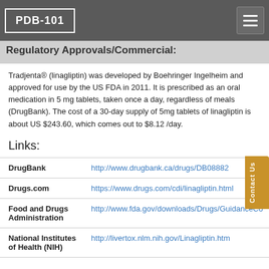PDB-101
Regulatory Approvals/Commercial:
Tradjenta® (linagliptin) was developed by Boehringer Ingelheim and approved for use by the US FDA in 2011. It is prescribed as an oral medication in 5 mg tablets, taken once a day, regardless of meals (DrugBank). The cost of a 30-day supply of 5mg tablets of linagliptin is about US $243.60, which comes out to $8.12 /day.
Links:
|  |  |
| --- | --- |
| DrugBank | http://www.drugbank.ca/drugs/DB08882 |
| Drugs.com | https://www.drugs.com/cdi/linagliptin.html |
| Food and Drugs Administration | http://www.fda.gov/downloads/Drugs/GuidanceCo... |
| National Institutes of Health (NIH) | http://livertox.nlm.nih.gov/Linagliptin.htm |